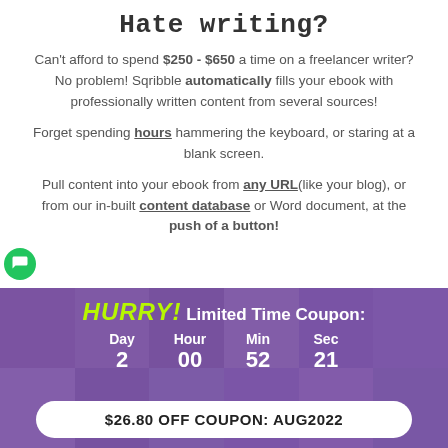Hate writing?
Can't afford to spend $250 - $650 a time on a freelancer writer? No problem! Sqribble automatically fills your ebook with professionally written content from several sources!
Forget spending hours hammering the keyboard, or staring at a blank screen.
Pull content into your ebook from any URL(like your blog), or from our in-built content database or Word document, at the push of a button!
HURRY! Limited Time Coupon:
Day 2  Hour 00  Min 52  Sec 21
$26.80 OFF COUPON: AUG2022